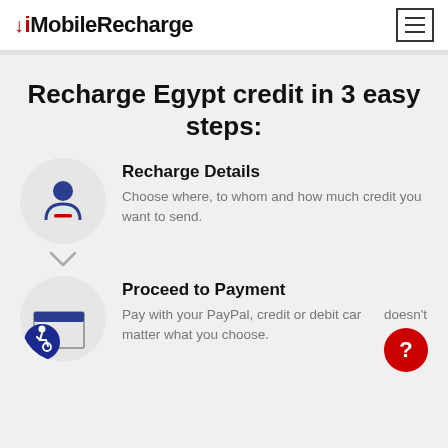MobileRecharge
Recharge Egypt credit in 3 easy steps:
Recharge Details
Choose where, to whom and how much credit you want to send.
Proceed to Payment
Pay with your PayPal, credit or debit card – doesn't matter what you choose.